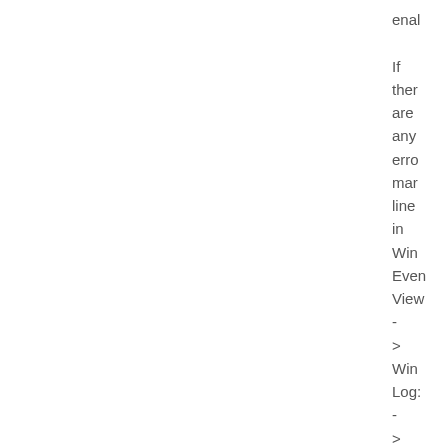enal

If there are any error man line in Win Even View - > Win Log: - > App sect rela to